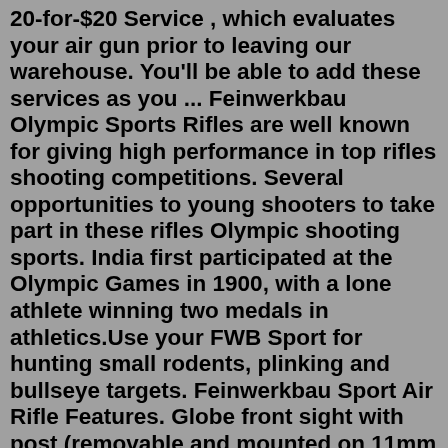20-for-$20 Service , which evaluates your air gun prior to leaving our warehouse. You'll be able to add these services as you ... Feinwerkbau Olympic Sports Rifles are well known for giving high performance in top rifles shooting competitions. Several opportunities to young shooters to take part in these rifles Olympic shooting sports. India first participated at the Olympic Games in 1900, with a lone athlete winning two medals in athletics.Use your FWB Sport for hunting small rodents, plinking and bullseye targets. Feinwerkbau Sport Air Rifle Features. Globe front sight with post (removable and mounted on 11mm dovetail) Unique rear sight with 4 different cuts. 11mm dovetail grooves with 5 scope-stop holes. Uniquely sculpted dual raised cheekpieces. Feinwerkbau Rifle Mechanisms. Bolt Action; £1,995 US$2,388/€2,341. Feinwerkbau .22 LR 2700 Super Match Lite Bolt Action Rifle - S/H (5) S/H. Wiltshire. Trade Seller. In stunning condition, complete with medium grip, includes many extras as follows. Gemini but book. Gehmann 565 iris, spirit level, Gemini